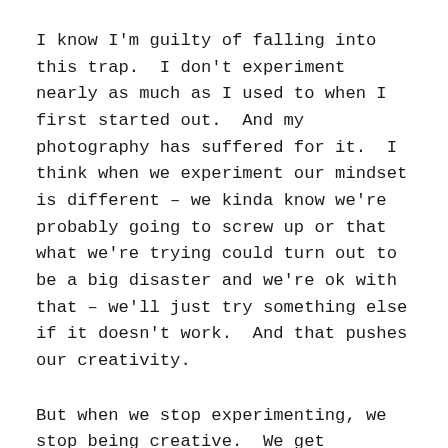I know I'm guilty of falling into this trap.  I don't experiment nearly as much as I used to when I first started out.  And my photography has suffered for it.  I think when we experiment our mindset is different – we kinda know we're probably going to screw up or that what we're trying could turn out to be a big disaster and we're ok with that – we'll just try something else if it doesn't work.  And that pushes our creativity.
But when we stop experimenting, we stop being creative.  We get formulaic and just put together a setup we know will work.  That doesn't mean it won't look nice.  It will.  But it won't be inspired, or different, or push the envelope creatively or force us to expand our skills.